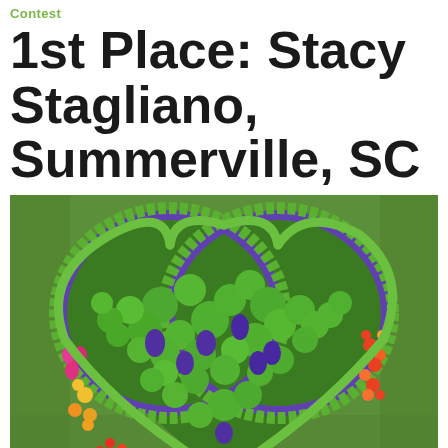Contest
1st Place: Stacy Stagliano, Summerville, SC
[Figure (photo): A heart-shaped arrangement of colorful peppers (predominantly green, with purple, red, orange, and yellow peppers) displayed on green grass. The heart outline is formed by green beans/okra pods and trimmed with purple baskets. A teal scroll-up button appears in the bottom right corner.]